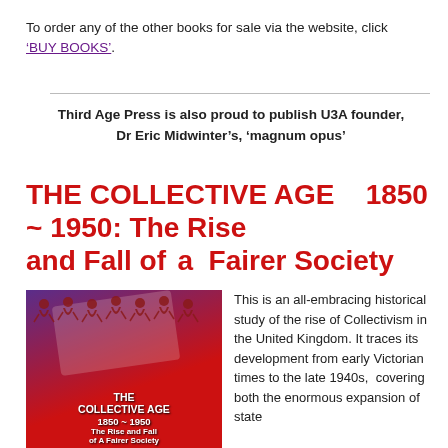To order any of the other books for sale via the website, click ‘BUY BOOKS’.
Third Age Press is also proud to publish U3A founder, Dr Eric Midwinter’s, ‘magnum opus’
THE COLLECTIVE AGE   1850 ~ 1950: The Rise and Fall of   a  Fairer Society
[Figure (illustration): Book cover for 'The Collective Age 1850~1950: The Rise and Fall of A Fairer Society' showing a red and purple background with silhouette figures holding hands in a chain around the top, and a faded overlay shape.]
This is an all-embracing historical study of the rise of Collectivism in the United Kingdom. It traces its development from early Victorian times to the late 1940s,  covering both the enormous expansion of state